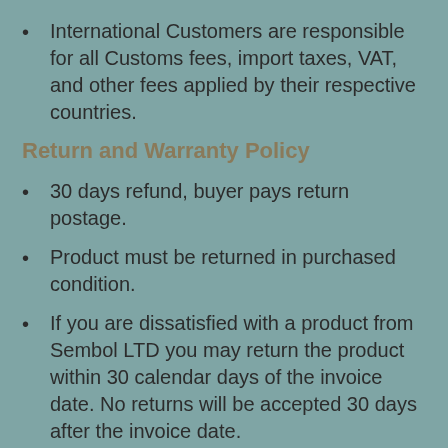International Customers are responsible for all Customs fees, import taxes, VAT, and other fees applied by their respective countries.
Return and Warranty Policy
30 days refund, buyer pays return postage.
Product must be returned in purchased condition.
If you are dissatisfied with a product from Sembol LTD you may return the product within 30 calendar days of the invoice date. No returns will be accepted 30 days after the invoice date.
We do not accept returns of discounted products based on the date manufactured or the cosmetic condition of product or packaging.
All used products  are repackaged in custom shipping containers. Some used products may not come with manual(s) or other accessories normally